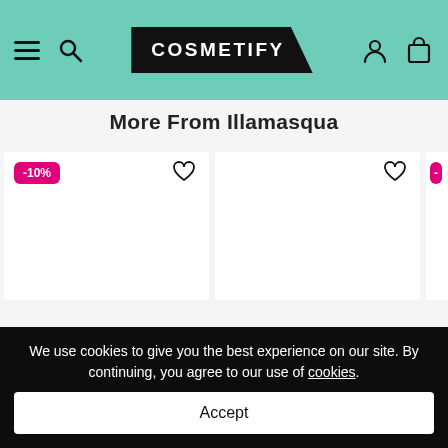COSMETIFY navigation bar
More From Illamasqua
[Figure (photo): Product card for Illamasqua Skin Base Lift Concealer with -10% discount badge and heart icon]
Illamasqua
Skin Base Lift Concealer
[Figure (photo): Product card for Illamasqua Skin Base Foundation with heart icon]
Illamasqua
Skin Base Foundation
[Figure (photo): Partially visible third product card with discount badge]
We use cookies to give you the best experience on our site. By continuing, you agree to our use of cookies.
Accept